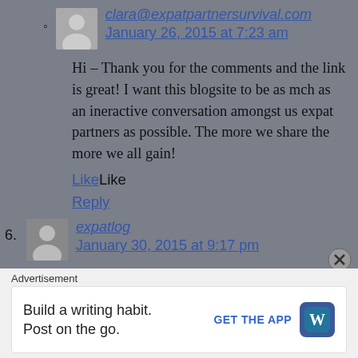clara@expatpartnersurvival.com
January 26, 2015 at 7:23 am
Hi – Thank you for the comments and the link is great! I want this blogsite to be as mch as an ineractive conversation amongst us expat partners as possible. The more we share the more we all gain!
LikeLike
Reply
expatlog
January 30, 2015 at 9:17 pm
Hi Clara, the first and most enduring friend I made when we moved from the UK to Canada was someone I met in a burger joint! We both had the same number of kids (3) all between 3mths and 5, and when she found out we were living in an empty rental while we waited for our shipping
Advertisement
Build a writing habit. Post on the go.
GET THE APP